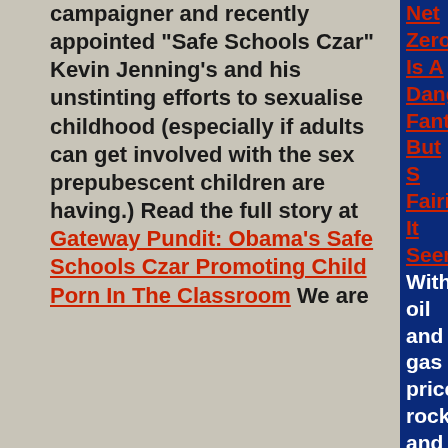campaigner and recently appointed "Safe Schools Czar" Kevin Jenning's and his unstinting efforts to sexualise childhood (especially if adults can get involved with the sex prepubescent children are having.) Read the full story at Gateway Pundit: Obama's Safe Schools Czar Promoting Child Porn In The Classroom We are
Net Zero Is A Dangerous Fantasy, But Sc Fairies It Seems
With oil and gas prices rocketing and th sustainable energy sources performing expectations the energy crisis currently (with worse to come as food shortages s still seem more intent on pandering to t chasing the dream of a fossil fuel free w the energy and food supplies needed by
The Federal Republic of New Normal G
So, the government of New Normal Ger contemplating forcing everyone to wear masks in public from October to Easter. The fanatical New Normal fascists curr Germanyâ€™s government are discuss â€œInfection Protection Actâ€ in order the authority to continue to rule the cou they have been doing since the Autumn instituting a â€œpermanent state of em overrides the German constitution, inde
Beware the dangers of a cashless society
As the country celebrates tradition and one major shift is closer than ever â€" o